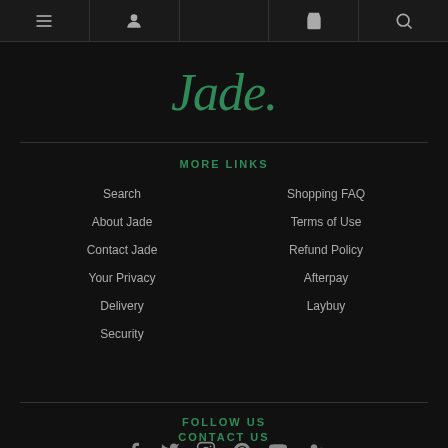Navigation bar with menu, profile, cart, and search icons
Jade.
MORE LINKS
Search
Shopping FAQ
About Jade
Terms of Use
Contact Jade
Refund Policy
Your Privacy
Afterpay
Delivery
Laybuy
Security
FOLLOW US
[Figure (infographic): Social media icons: Facebook, Twitter, Instagram, Pinterest, YouTube, Google+]
CONTACT US